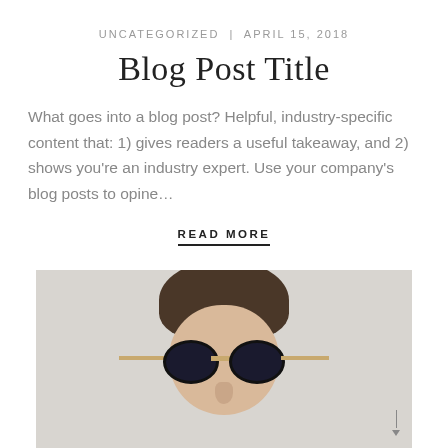UNCATEGORIZED | APRIL 15, 2018
Blog Post Title
What goes into a blog post? Helpful, industry-specific content that: 1) gives readers a useful takeaway, and 2) shows you're an industry expert. Use your company's blog posts to opine...
READ MORE
[Figure (photo): Photo of a young man wearing round black sunglasses with gold temples, against a light gray background]